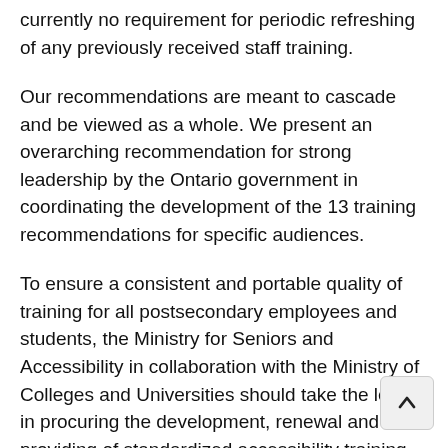currently no requirement for periodic refreshing of any previously received staff training.
Our recommendations are meant to cascade and be viewed as a whole. We present an overarching recommendation for strong leadership by the Ontario government in coordinating the development of the 13 training recommendations for specific audiences.
To ensure a consistent and portable quality of training for all postsecondary employees and students, the Ministry for Seniors and Accessibility in collaboration with the Ministry of Colleges and Universities should take the lead in procuring the development, renewal and providing of standardized accessibility training across the province regardless of postsecondary institution.